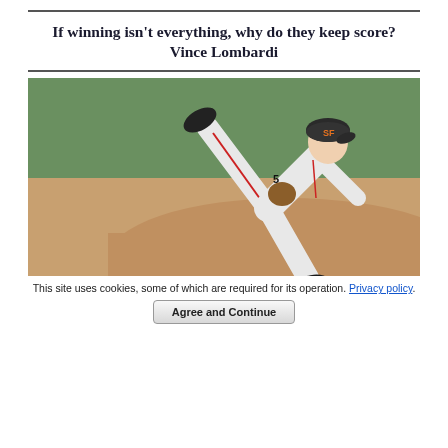If winning isn't everything, why do they keep score? Vince Lombardi
[Figure (photo): Baseball pitcher in white San Francisco Giants uniform mid-pitch follow-through, leaning forward on the pitcher's mound with green grass background]
This site uses cookies, some of which are required for its operation. Privacy policy.
Agree and Continue